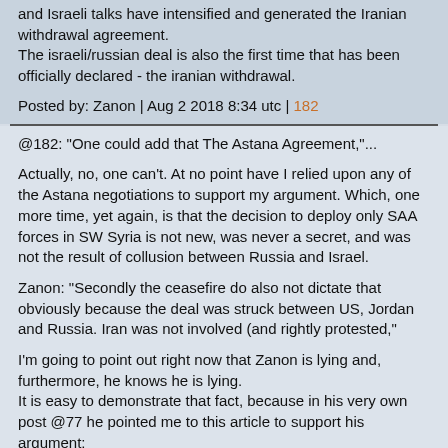and Israeli talks have intensified and generated the Iranian withdrawal agreement.
The israeli/russian deal is also the first time that has been officially declared - the iranian withdrawal.
Posted by: Zanon | Aug 2 2018 8:34 utc | 182
@182: "One could add that The Astana Agreement,"...
Actually, no, one can't. At no point have I relied upon any of the Astana negotiations to support my argument. Which, one more time, yet again, is that the decision to deploy only SAA forces in SW Syria is not new, was never a secret, and was not the result of collusion between Russia and Israel.
Zanon: "Secondly the ceasefire do also not dictate that obviously because the deal was struck between US, Jordan and Russia. Iran was not involved (and rightly protested,"
I'm going to point out right now that Zanon is lying and, furthermore, he knows he is lying.
It is easy to demonstrate that fact, because in his very own post @77 he pointed me to this article to support his argument:
https://www.presstv.com/Detail/2018/07/12/567860/Iran-Russia-Syria-Putin-Israel-Netanyahu
An article that contains this gem: